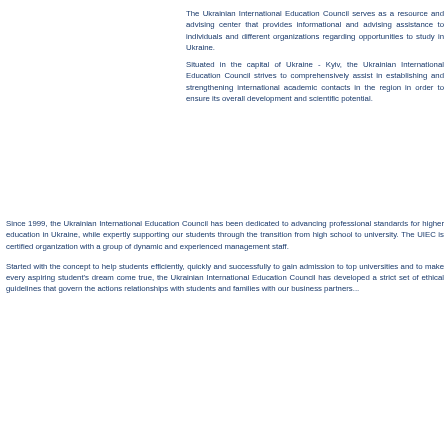The Ukrainian International Education Council serves as a resource and advising center that provides informational and advising assistance to individuals and different organizations regarding opportunities to study in Ukraine.

Situated in the capital of Ukraine - Kyiv, the Ukrainian International Education Council strives to comprehensively assist in establishing and strengthening international academic contacts in the region in order to ensure its overall development and scientific potential.
Since 1999, the Ukrainian International Education Council has been dedicated to advancing professional standards for higher education in Ukraine, while expertly supporting our students through the transition from high school to university. The UIEC is certified organization with a group of dynamic and experienced management staff.
Started with the concept to help students efficiently, quickly and successfully to gain admission to top universities and to make every aspiring student's dream come true, the Ukrainian International Education Council has developed a strict set of ethical guidelines that govern the actions relationships with students and families with our business partners...